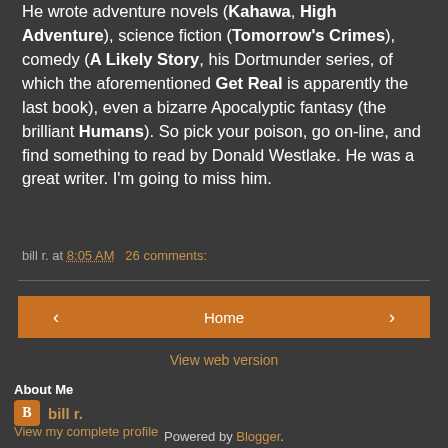He wrote adventure novels (Kahawa, High Adventure), science fiction (Tomorrow's Crimes), comedy (A Likely Story, his Dortmunder series, of which the aforementioned Get Real is apparently the last book), even a bizarre Apocalyptic fantasy (the brilliant Humans). So pick your poison, go on-line, and find something to read by Donald Westlake. He was a great writer. I'm going to miss him.
bill r. at 8:05 AM   26 comments:
< Home >
View web version
About Me
bill r.
View my complete profile
Powered by Blogger.